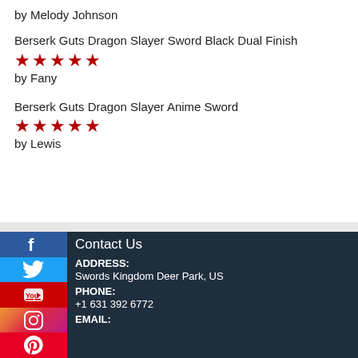by Melody Johnson
Berserk Guts Dragon Slayer Sword Black Dual Finish
[Figure (other): 5 red stars rating]
by Fany
Berserk Guts Dragon Slayer Anime Sword
[Figure (other): 5 red stars rating]
by Lewis
Contact Us
ADDRESS:
Swords Kingdom Deer Park, US
PHONE:
+1 631 392 6772
EMAIL: